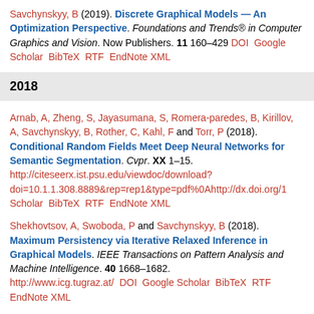Savchynskyy, B (2019). Discrete Graphical Models — An Optimization Perspective. Foundations and Trends® in Computer Graphics and Vision. Now Publishers. 11 160–429 DOI Google Scholar BibTeX RTF EndNote XML
2018
Arnab, A, Zheng, S, Jayasumana, S, Romera-paredes, B, Kirillov, A, Savchynskyy, B, Rother, C, Kahl, F and Torr, P (2018). Conditional Random Fields Meet Deep Neural Networks for Semantic Segmentation. Cvpr. XX 1–15. http://citeseerx.ist.psu.edu/viewdoc/download?doi=10.1.1.308.8889&rep=rep1&type=pdf%0Ahttp://dx.doi.org/1 Scholar BibTeX RTF EndNote XML
Shekhovtsov, A, Swoboda, P and Savchynskyy, B (2018). Maximum Persistency via Iterative Relaxed Inference in Graphical Models. IEEE Transactions on Pattern Analysis and Machine Intelligence. 40 1668–1682. http://www.icg.tugraz.at/ DOI Google Scholar BibTeX RTF EndNote XML